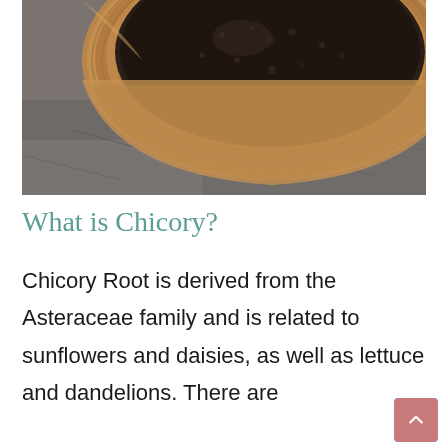[Figure (photo): Close-up photo of a wooden bowl filled with dark ground chicory root powder, placed on a stone/marble surface.]
What is Chicory?
Chicory Root is derived from the Asteraceae family and is related to sunflowers and daisies, as well as lettuce and dandelions. There are